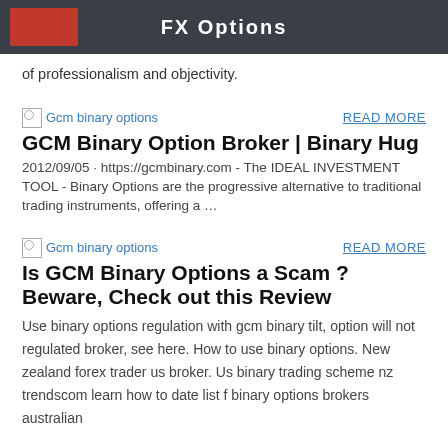FX Options
of professionalism and objectivity.
[Figure (other): Gcm binary options thumbnail image placeholder]
READ MORE
GCM Binary Option Broker | Binary Hug
2012/09/05 · https://gcmbinary.com - The IDEAL INVESTMENT TOOL - Binary Options are the progressive alternative to traditional trading instruments, offering a …
[Figure (other): Gcm binary options thumbnail image placeholder]
READ MORE
Is GCM Binary Options a Scam ? Beware, Check out this Review
Use binary options regulation with gcm binary tilt, option will not regulated broker, see here. How to use binary options. New zealand forex trader us broker. Us binary trading scheme nz trendscom learn how to date list f binary options brokers australian